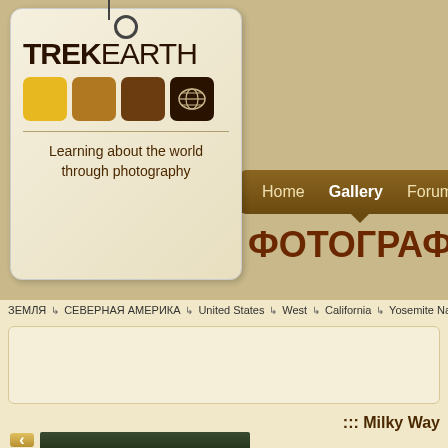[Figure (logo): TrekEarth logo tag with colored squares and world map icon, tagline 'Learning about the world through photography']
Home  Gallery  Forums  C...
ФОТОГРАФИИ
ЗЕМЛЯ → СЕВЕРНАЯ АМЕРИКА → United States → West → California → Yosemite Na...
::: Milky Way